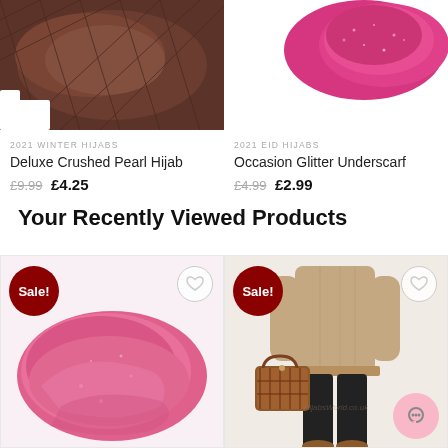[Figure (photo): Top-left product: Brown/dark quilted hijab fabric on white background]
2021 WINTER HIJABS
Deluxe Crushed Pearl Hijab
£9.99  £4.25
[Figure (photo): Top-right product: Pink/magenta glitter underscarf/hijab fabric on white background]
2021 EID HIJABS
Occasion Glitter Underscarf
£4.99  £2.99
Your Recently Viewed Products
[Figure (photo): Bottom-left product card: Pink glitter underscarf/hijab with Sale! badge and heart wishlist button]
[Figure (photo): Bottom-right product card: Female mannequin wearing camel/tan sweater with black pants and tartan handbag, Sale! badge, heart wishlist button, watermark overlay]